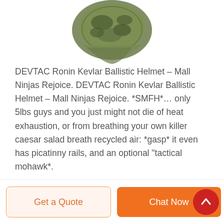[Figure (photo): Partial product image of a camouflage tactical helmet/mask at top of page]
DEVTAC Ronin Kevlar Ballistic Helmet – Mall Ninjas Rejoice. DEVTAC Ronin Kevlar Ballistic Helmet – Mall Ninjas Rejoice. *SMFH*… only 5lbs guys and you just might not die of heat exhaustion, or from breathing your own killer caesar salad breath recycled air: *gasp* it even has picatinny rails, and an optional "tactical mohawk*.